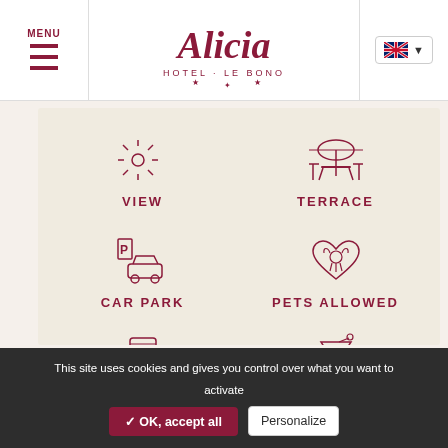MENU | Alicia Hotel Le Bono
[Figure (logo): Alicia Hotel Le Bono cursive logo with stars]
[Figure (infographic): Hotel amenities icons grid: VIEW, TERRACE, CAR PARK, PETS ALLOWED, WIFI, BAR]
VIEW
TERRACE
CAR PARK
PETS ALLOWED
WIFI
BAR
This site uses cookies and gives you control over what you want to activate
✓ OK, accept all | Personalize